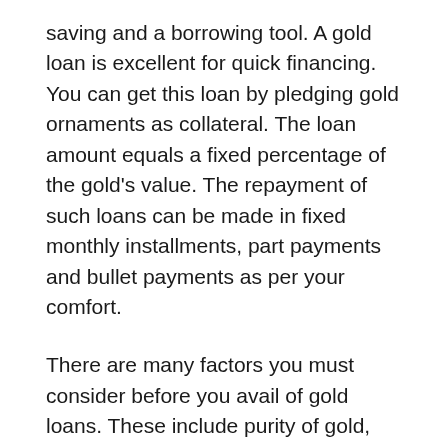saving and a borrowing tool. A gold loan is excellent for quick financing. You can get this loan by pledging gold ornaments as collateral. The loan amount equals a fixed percentage of the gold's value. The repayment of such loans can be made in fixed monthly installments, part payments and bullet payments as per your comfort.
There are many factors you must consider before you avail of gold loans. These include purity of gold, evaluation of the actual value of gold after removal of impurities, and the ongoing market price. On complete repayments of the loan, the borrower can take possession of the gold particles. So, let us understand the benefits of such loans over other loans.